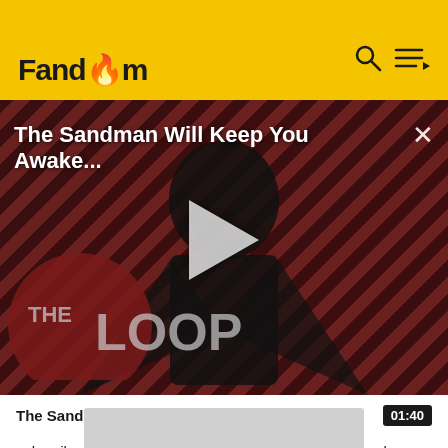Fandom
[Figure (screenshot): Video thumbnail showing The Sandman Will Keep You Awake - The Loop, featuring a figure in black against a dark red diagonal stripe background, with a play button overlay and The Loop logo in the lower left. Title text overlaid at top reads 'The Sandman Will Keep You Awake...' with a close X button.]
The Sandman Will Keep You Awake - The Loop  01:40
subscribers, but is also archived on their Twitch channel; you can find links to the episodes on the website.